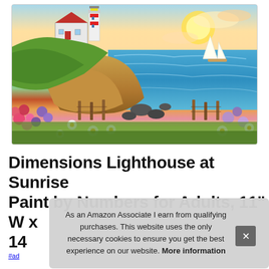[Figure (illustration): Paint by numbers artwork showing a coastal lighthouse scene with a house, rocky cliffs, sailboat on the ocean, wildflowers and daisies in the foreground, wooden fence posts, and a sunrise sky.]
Dimensions Lighthouse at Sunrise Paint by Numbers for Adults, 11" W x 14
As an Amazon Associate I earn from qualifying purchases. This website uses the only necessary cookies to ensure you get the best experience on our website. More information
#ad